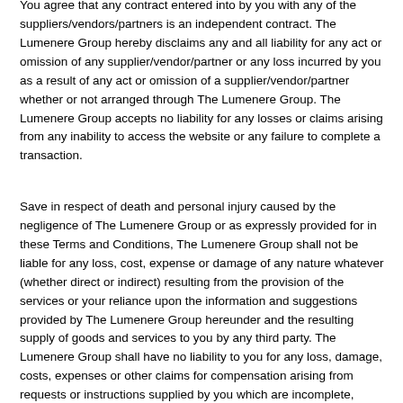You agree that any contract entered into by you with any of the suppliers/vendors/partners is an independent contract. The Lumenere Group hereby disclaims any and all liability for any act or omission of any supplier/vendor/partner or any loss incurred by you as a result of any act or omission of a supplier/vendor/partner whether or not arranged through The Lumenere Group. The Lumenere Group accepts no liability for any losses or claims arising from any inability to access the website or any failure to complete a transaction.
Save in respect of death and personal injury caused by the negligence of The Lumenere Group or as expressly provided for in these Terms and Conditions, The Lumenere Group shall not be liable for any loss, cost, expense or damage of any nature whatever (whether direct or indirect) resulting from the provision of the services or your reliance upon the information and suggestions provided by The Lumenere Group hereunder and the resulting supply of goods and services to you by any third party. The Lumenere Group shall have no liability to you for any loss, damage, costs, expenses or other claims for compensation arising from requests or instructions supplied by you which are incomplete,